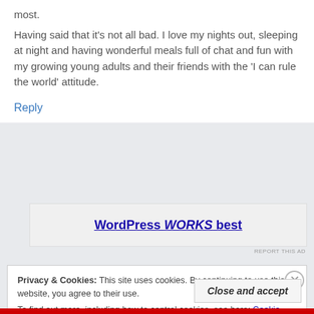most.
Having said that it’s not all bad. I love my nights out, sleeping at night and having wonderful meals full of chat and fun with my growing young adults and their friends with the ‘I can rule the world’ attitude.
Reply
[Figure (screenshot): Advertisement banner showing 'WordPress WORKS best' text in blue bold underlined style]
REPORT THIS AD
Privacy & Cookies: This site uses cookies. By continuing to use this website, you agree to their use.
To find out more, including how to control cookies, see here: Cookie Policy
Close and accept